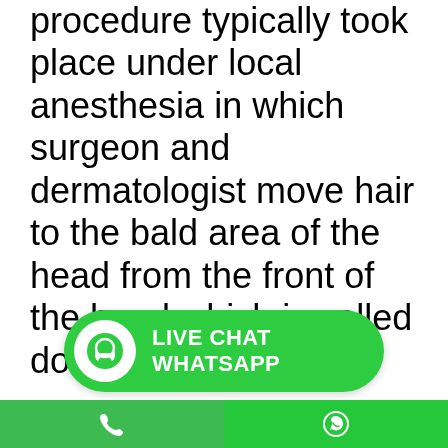procedure typically took place under local anesthesia in which surgeon and dermatologist move hair to the bald area of the head from the front of the head which is called donor area
[Figure (screenshot): Green Live Chat WhatsApp button with headset icon]
[Figure (photo): Blurred image with blue and purple tones, partially visible at bottom of page]
[Figure (screenshot): Bottom navigation bar with phone icon on left (green) and WhatsApp icon on right (green)]